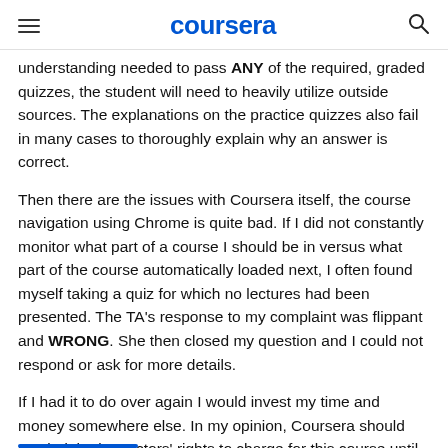coursera
understanding needed to pass ANY of the required, graded quizzes, the student will need to heavily utilize outside sources. The explanations on the practice quizzes also fail in many cases to thoroughly explain why an answer is correct.
Then there are the issues with Coursera itself, the course navigation using Chrome is quite bad. If I did not constantly monitor what part of a course I should be in versus what part of the course automatically loaded next, I often found myself taking a quiz for which no lectures had been presented. The TA's response to my complaint was flippant and WRONG. She then closed my question and I could not respond or ask for more details.
If I had it to do over again I would invest my time and money somewhere else. In my opinion, Coursera should rescind the instructors' rights to charge for this course until the instructors improve and meet higher teaching standards.